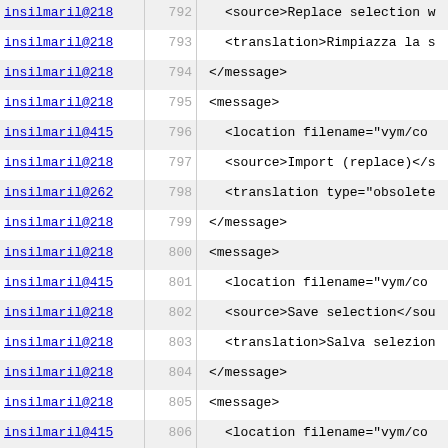| user | line | code |
| --- | --- | --- |
| insilmaril@218 | 792 | <source>Replace selection w |
| insilmaril@218 | 793 | <translation>Rimpiazza la s |
| insilmaril@218 | 794 | </message> |
| insilmaril@218 | 795 | <message> |
| insilmaril@415 | 796 | <location filename="vym/co |
| insilmaril@218 | 797 | <source>Import (replace)</s |
| insilmaril@262 | 798 | <translation type="obsolete |
| insilmaril@218 | 799 | </message> |
| insilmaril@218 | 800 | <message> |
| insilmaril@415 | 801 | <location filename="vym/co |
| insilmaril@218 | 802 | <source>Save selection</sou |
| insilmaril@218 | 803 | <translation>Salva selezion |
| insilmaril@218 | 804 | </message> |
| insilmaril@218 | 805 | <message> |
| insilmaril@415 | 806 | <location filename="vym/co |
| insilmaril@218 | 807 | <source>Select upper branch |
| insilmaril@218 | 808 | <translation>Seleziona il r |
| insilmaril@218 | 809 | </message> |
| insilmaril@218 | 810 | <message> |
| insilmaril@415 | 811 | <location filename="vym/co |
| insilmaril@218 | 812 | <source>Select lower branch |
| insilmaril@218 | 813 | <translation>Seleziona il r |
| insilmaril@218 | 814 | </message> |